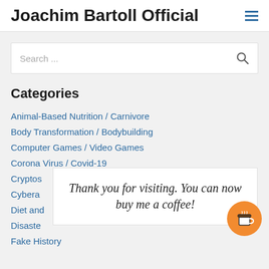Joachim Bartoll Official
[Figure (screenshot): Search input box with placeholder text 'Search ...' and a magnifying glass icon on the right]
Categories
Animal-Based Nutrition / Carnivore
Body Transformation / Bodybuilding
Computer Games / Video Games
Corona Virus / Covid-19
Cryptos
Cybera
Diet and
Disaste
Fake History
Thank you for visiting. You can now buy me a coffee!